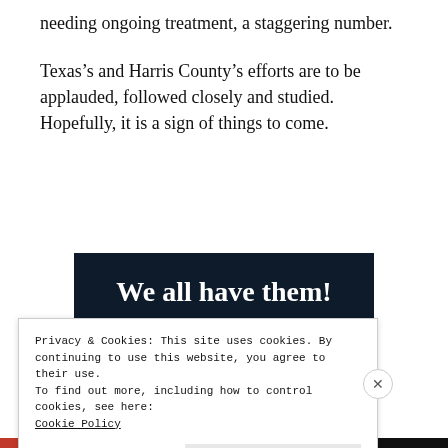needing ongoing treatment, a staggering number.
Texas’s and Harris County’s efforts are to be applauded, followed closely and studied. Hopefully, it is a sign of things to come.
[Figure (illustration): Dark navy banner with bold white text: 'We all have them!' with a pink bar and partial circle at the bottom]
Privacy & Cookies: This site uses cookies. By continuing to use this website, you agree to their use.
To find out more, including how to control cookies, see here:
Cookie Policy
Close and accept